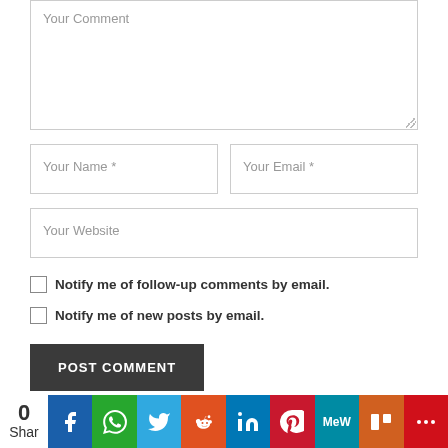[Figure (screenshot): Web comment form with textarea labeled 'Your Comment', two input fields labeled 'Your Name *' and 'Your Email *', one input labeled 'Your Website', two checkboxes for email notifications, and a POST COMMENT button. Below is a social sharing bar with share count 0, Facebook, WhatsApp, Twitter, Reddit, LinkedIn, Pinterest, MeWe, Mix, and more buttons.]